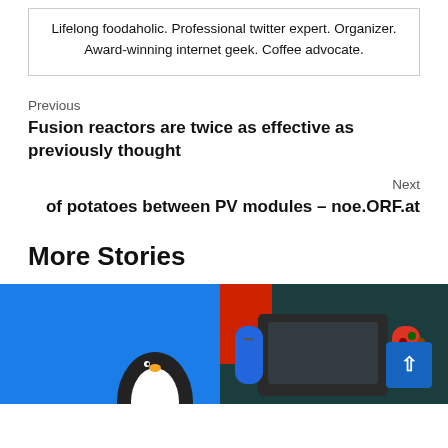Lifelong foodaholic. Professional twitter expert. Organizer. Award-winning internet geek. Coffee advocate.
Previous
Fusion reactors are twice as effective as previously thought
Next
of potatoes between PV modules – noe.ORF.at
More Stories
[Figure (photo): Blue background with a partial penguin illustration at the bottom right]
[Figure (photo): Nintendo Switch console with neon blue and red Joy-Con controllers against a dark teal/red background]